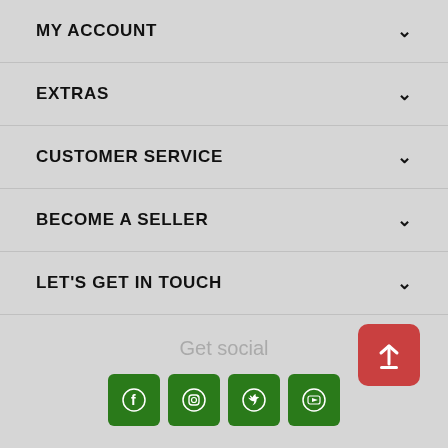MY ACCOUNT
EXTRAS
CUSTOMER SERVICE
BECOME A SELLER
LET'S GET IN TOUCH
Get social
[Figure (infographic): Four green social media icon buttons: Facebook, Instagram, Twitter, YouTube. A red scroll-to-top button on the right.]
GET THE LATEST NEWS